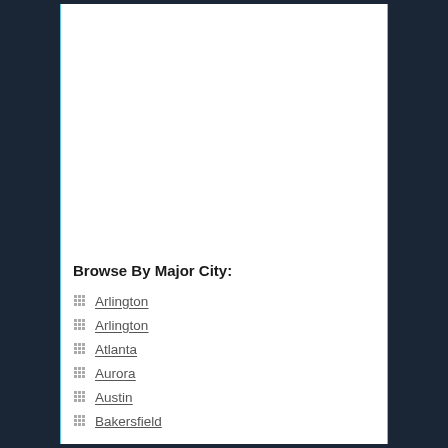Browse By Major City:
Arlington
Arlington
Atlanta
Aurora
Austin
Bakersfield